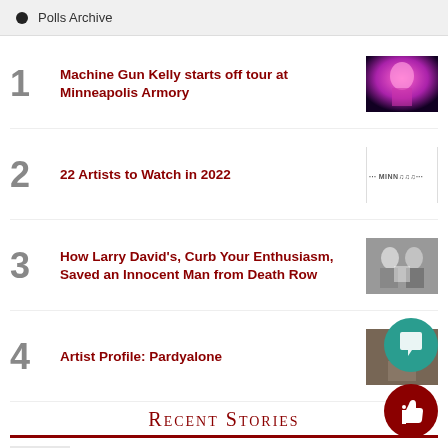Polls Archive
1 Machine Gun Kelly starts off tour at Minneapolis Armory
2 22 Artists to Watch in 2022
3 How Larry David's, Curb Your Enthusiasm, Saved an Innocent Man from Death Row
4 Artist Profile: Pardyalone
Recent Stories
Democrats' Reconciliation Package Promises to